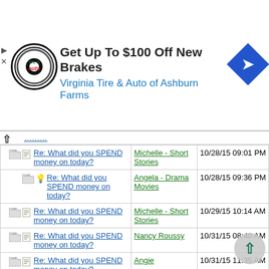[Figure (other): Advertisement banner for Virginia Tire & Auto of Ashburn Farms - Get Up To $100 Off New Brakes]
| Subject | Author | Date |
| --- | --- | --- |
| Re: What did you SPEND money on today? | Michelle - Short Stories | 10/28/15 09:01 PM |
| Re: What did you SPEND money on today? | Angela - Drama Movies | 10/28/15 09:36 PM |
| Re: What did you SPEND money on today? | Michelle - Short Stories | 10/29/15 10:14 AM |
| Re: What did you SPEND money on today? | Nancy Roussy | 10/31/15 08:40 AM |
| Re: What did you SPEND money on today? | Angie | 10/31/15 11:35 AM |
| Re: What did you SPEND money on today? | Nancy Roussy | 11/02/15 02:19 PM |